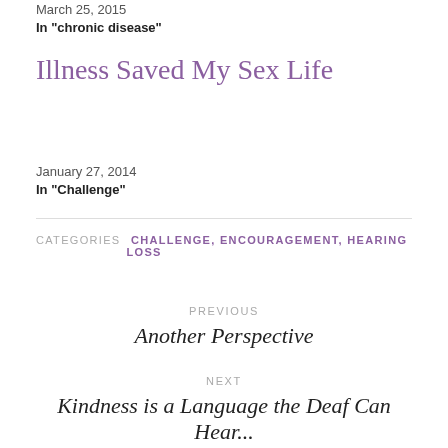March 25, 2015
In "chronic disease"
Illness Saved My Sex Life
January 27, 2014
In "Challenge"
CATEGORIES  CHALLENGE, ENCOURAGEMENT, HEARING LOSS
PREVIOUS
Another Perspective
NEXT
Kindness is a Language the Deaf Can Hear...